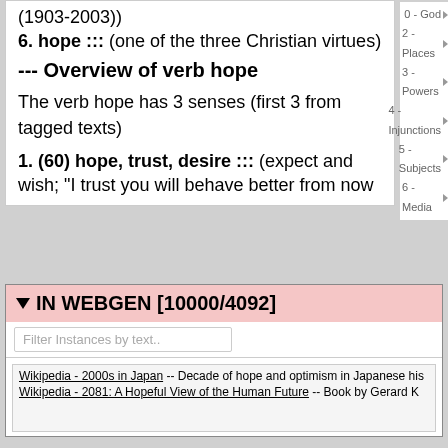(1903-2003))
6. hope ::: (one of the three Christian virtues)
--- Overview of verb hope
The verb hope has 3 senses (first 3 from tagged texts)
1. (60) hope, trust, desire ::: (expect and wish; "I trust you will behave better from now
▼ IN WEBGEN [10000/4092]
Filter Instances by text..
Wikipedia - 2000s in Japan -- Decade of hope and optimism in Japanese his
Wikipedia - 2081: A Hopeful View of the Human Future -- Book by Gerard K